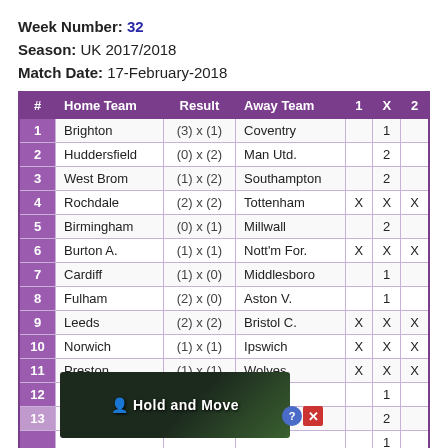Week Number: 32
Season: UK 2017/2018
Match Date: 17-February-2018
| # | Home Team | Result | Away Team | 1 | X | 2 |
| --- | --- | --- | --- | --- | --- | --- |
| 1 | Brighton | (3) x (1) | Coventry |  | 1 |  |
| 2 | Huddersfield | (0) x (2) | Man Utd. |  | 2 |  |
| 3 | West Brom | (1) x (2) | Southampton |  | 2 |  |
| 4 | Rochdale | (2) x (2) | Tottenham | X | X | X |
| 5 | Birmingham | (0) x (1) | Millwall |  | 2 |  |
| 6 | Burton A. | (1) x (1) | Nott'm For. | X | X | X |
| 7 | Cardiff | (1) x (0) | Middlesboro |  | 1 |  |
| 8 | Fulham | (2) x (0) | Aston V. |  | 1 |  |
| 9 | Leeds | (2) x (2) | Bristol C. | X | X | X |
| 10 | Norwich | (1) x (1) | Ipswich | X | X | X |
| 11 | Preston | (1) x (1) | Wolves | X | X | X |
| 12 | Q.P.R. | (2) x (0) | Bolton |  | 1 |  |
| 13 | Sunderland | (0) x (0?) | Brentford |  | 2 |  |
[Figure (photo): Advertisement banner with 'Hold and Move' text overlaid on outdoor/forest background image]